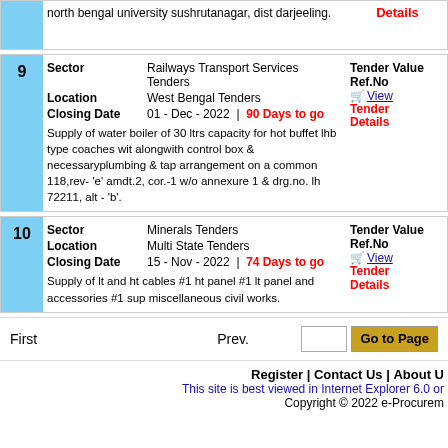north bengal university sushrutanagar, dist darjeeling.
| Field | Value |
| --- | --- |
| 9 Sector | Railways Transport Services Tenders | Tender Value |
| Location | West Bengal Tenders | Ref.No |
| Closing Date | 01 - Dec - 2022 | 90 Days to go | View Tender Details |
| Description | Supply of water boiler of 30 ltrs capacity for hot buffet lhb type coaches with alongwith control box & necessaryplumbing & tap arrangement on a common 118,rev- 'e' amdt.2, cor.-1 w/o annexure 1 & drg.no. lh 72211, alt - 'b'. |
| Field | Value |
| --- | --- |
| 10 Sector | Minerals Tenders | Tender Value |
| Location | Multi State Tenders | Ref.No |
| Closing Date | 15 - Nov - 2022 | 74 Days to go | View Tender Details |
| Description | Supply of lt and ht cables #1 ht panel #1 lt panel and accessories #1 sup miscellaneous civil works. |
First   Prev.   Go to Page
Register | Contact Us | About U
This site is best viewed in Internet Explorer 6.0 or
Copyright © 2022 e-Procurem